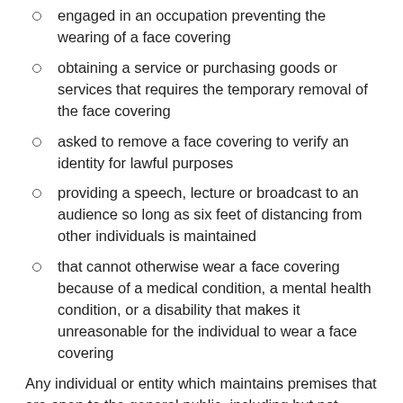engaged in an occupation preventing the wearing of a face covering
obtaining a service or purchasing goods or services that requires the temporary removal of the face covering
asked to remove a face covering to verify an identity for lawful purposes
providing a speech, lecture or broadcast to an audience so long as six feet of distancing from other individuals is maintained
that cannot otherwise wear a face covering because of a medical condition, a mental health condition, or a disability that makes it unreasonable for the individual to wear a face covering
Any individual or entity which maintains premises that are open to the general public, including but not limited to educational institutions, must post one or more signs that are visible to all persons — including workers, customers, and visitors instructing them to wear face coverings. Any